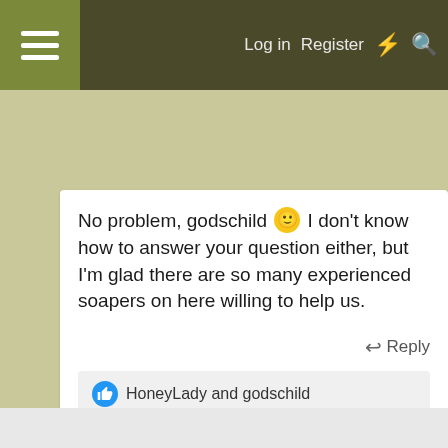Log in  Register
No problem, godschild 🙂 I don't know how to answer your question either, but I'm glad there are so many experienced soapers on here willing to help us.
Reply
HoneyLady and godschild